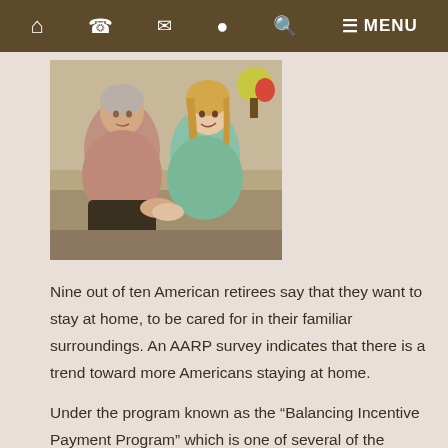Home | Phone | Email | Location | Search | Menu
[Figure (photo): An elderly woman sitting with a younger female caregiver in light blue scrubs, the caregiver holding the older woman's hands in a home setting.]
Nine out of ten American retirees say that they want to stay at home, to be cared for in their familiar surroundings. An AARP survey indicates that there is a trend toward more Americans staying at home.
Under the program known as the “Balancing Incentive Payment Program” which is one of several of the many Affordable Care Act (ACA) (OBAMA-CARE)programs, it is intended to keep as many people out of expensive long